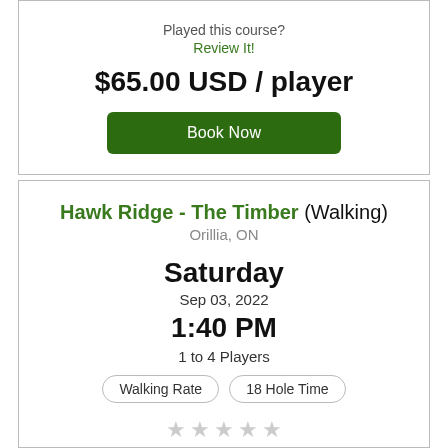Played this course?
Review It!
$65.00 USD / player
Book Now
Hawk Ridge - The Timber (Walking)
Orillia, ON
Saturday
Sep 03, 2022
1:40 PM
1 to 4 Players
Walking Rate
18 Hole Time
Played this course?
Review It!